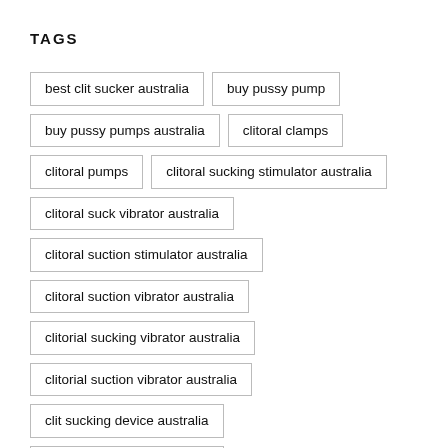TAGS
best clit sucker australia
buy pussy pump
buy pussy pumps australia
clitoral clamps
clitoral pumps
clitoral sucking stimulator australia
clitoral suck vibrator australia
clitoral suction stimulator australia
clitoral suction vibrator australia
clitorial sucking vibrator australia
clitorial suction vibrator australia
clit sucking device australia
clit suction sex toy australia